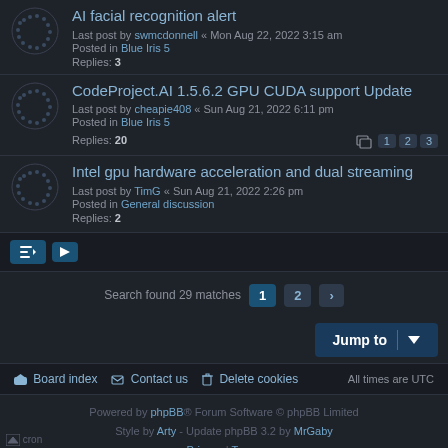AI facial recognition alert
Last post by swmcdonnell « Mon Aug 22, 2022 3:15 am
Posted in Blue Iris 5
Replies: 3
CodeProject.AI 1.5.6.2 GPU CUDA support Update
Last post by cheapie408 « Sun Aug 21, 2022 6:11 pm
Posted in Blue Iris 5
Replies: 20
Pages: 1 2 3
Intel gpu hardware acceleration and dual streaming
Last post by TimG « Sun Aug 21, 2022 2:26 pm
Posted in General discussion
Replies: 2
Search found 29 matches  1  2  >
Jump to
Board index  Contact us  Delete cookies  All times are UTC
Powered by phpBB® Forum Software © phpBB Limited
Style by Arty - Update phpBB 3.2 by MrGaby
Privacy | Terms
cron